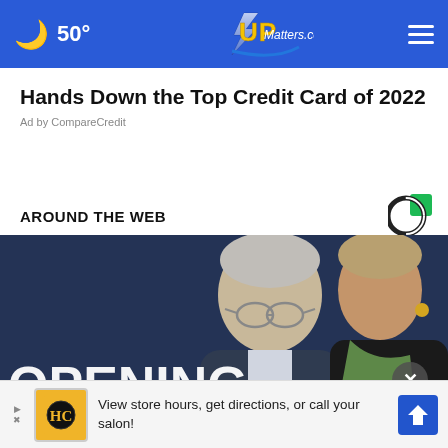50° UPMatters.com
Hands Down the Top Credit Card of 2022
Ad by CompareCredit
AROUND THE WEB
[Figure (photo): Photo of two people (Dr. Fauci and another official) standing in front of a banner reading 'OPENING AMERICA']
View store hours, get directions, or call your salon!